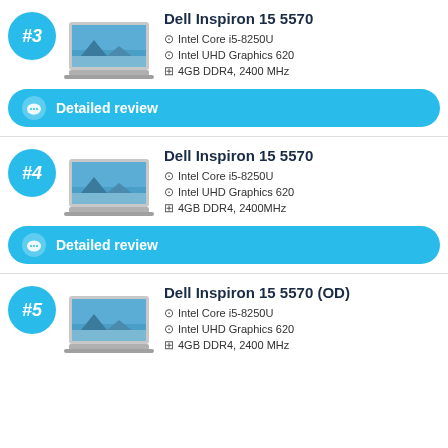#3 Dell Inspiron 15 5570
Intel Core i5-8250U
Intel UHD Graphics 620
4GB DDR4, 2400 MHz
Detailed review
#4 Dell Inspiron 15 5570
Intel Core i5-8250U
Intel UHD Graphics 620
4GB DDR4, 2400MHz
Detailed review
#5 Dell Inspiron 15 5570 (OD)
Intel Core i5-8250U
Intel UHD Graphics 620
4GB DDR4, 2400 MHz